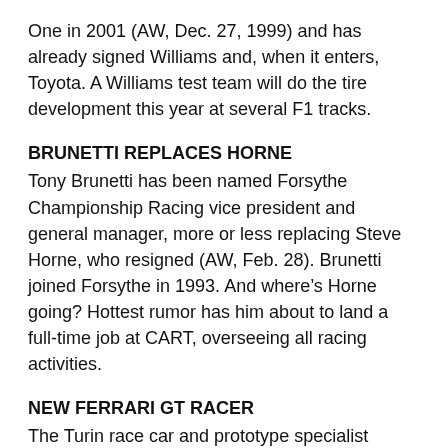One in 2001 (AW, Dec. 27, 1999) and has already signed Williams and, when it enters, Toyota. A Williams test team will do the tire development this year at several F1 tracks.
BRUNETTI REPLACES HORNE
Tony Brunetti has been named Forsythe Championship Racing vice president and general manager, more or less replacing Steve Horne, who resigned (AW, Feb. 28). Brunetti joined Forsythe in 1993. And where's Horne going? Hottest rumor has him about to land a full-time job at CART, overseeing all racing activities.
NEW FERRARI GT RACER
The Turin race car and prototype specialist Italtechnica is building a limited run of Ferrari 550 Maranellos called the Millenio, for the Le Mans 24 Hour and the FIA GT Championship. It is a purely privateer venture with no backing, either financial or technical, from Ferrari. The project is backed by a group of wealthy investors under the title GT Racing